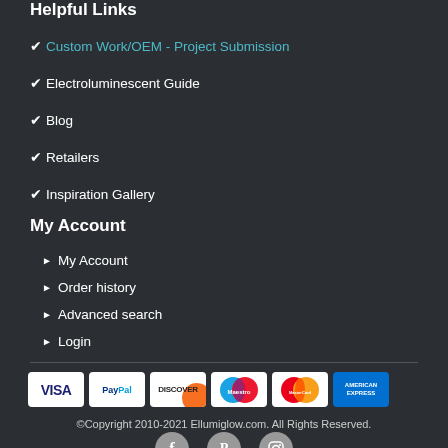Helpful Links
Custom Work/OEM - Project Submission
Electroluminescent Guide
Blog
Retailers
Inspiration Gallery
My Account
My Account
Order history
Advanced search
Login
[Figure (other): Payment method logos: VISA, PayPal, DISCOVER, Maestro, MasterCard, American Express]
©Copyright 2010-2021 Ellumiglow.com. All Rights Reserved.
[Figure (other): Social media icons: Facebook, Pinterest, Instagram]